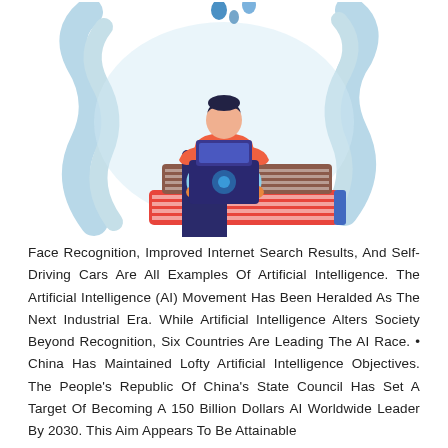[Figure (illustration): A flat-style illustration of a person sitting cross-legged on a stack of books, working on a laptop. There are decorative blue wavy shapes and water drop elements in the background. The person wears an orange/red top and light blue pants.]
Face Recognition, Improved Internet Search Results, And Self-Driving Cars Are All Examples Of Artificial Intelligence. The Artificial Intelligence (AI) Movement Has Been Heralded As The Next Industrial Era. While Artificial Intelligence Alters Society Beyond Recognition, Six Countries Are Leading The AI Race. • China Has Maintained Lofty Artificial Intelligence Objectives. The People's Republic Of China's State Council Has Set A Target Of Becoming A 150 Billion Dollars AI Worldwide Leader By 2030. This Aim Appears To Be Attainable